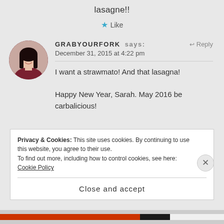lasagne!!
★ Like
[Figure (photo): Circular avatar photo of a person wearing dark red/maroon top, with dark hair, smiling, holding food]
GRABYOURFORK says:
December 31, 2015 at 4:22 pm
I want a strawmato! And that lasagna!

Happy New Year, Sarah. May 2016 be carbalicious!
Privacy & Cookies: This site uses cookies. By continuing to use this website, you agree to their use.
To find out more, including how to control cookies, see here: Cookie Policy
Close and accept